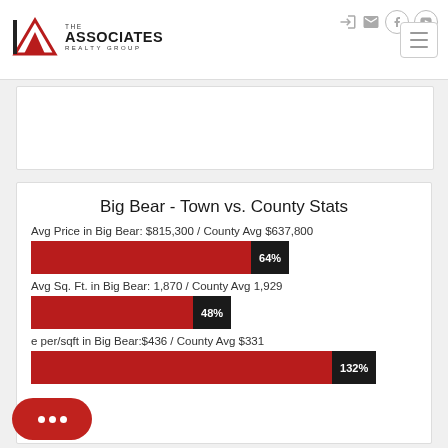[Figure (logo): The Associates Realty Group logo with red triangle/A mark]
Big Bear - Town vs. County Stats
Avg Price in Big Bear: $815,300 / County Avg $637,800
[Figure (bar-chart): Avg Price]
Avg Sq. Ft. in Big Bear: 1,870 / County Avg 1,929
[Figure (bar-chart): Avg Sq Ft]
e per/sqft in Big Bear:$436 / County Avg $331
[Figure (bar-chart): Price per sqft]